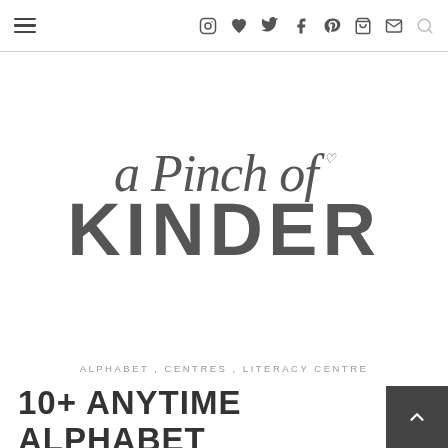Navigation bar with hamburger menu and social icons: Instagram, heart, Twitter, Facebook, Pinterest, cart, email, search
[Figure (logo): a Pinch of KINDER logo — script font 'a Pinch of' with a small heart, bold uppercase 'KINDER' below]
ALPHABET , CENTRES , LITERACY CENTRE
10+ ANYTIME ALPHABET CENTRES